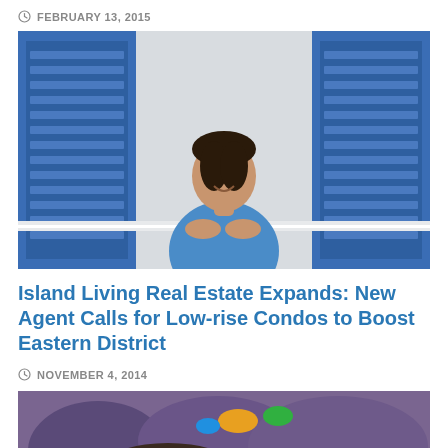FEBRUARY 13, 2015
[Figure (photo): Woman in blue shirt leaning on white railing in front of a building with blue shutters, smiling at camera]
Island Living Real Estate Expands: New Agent Calls for Low-rise Condos to Boost Eastern District
NOVEMBER 4, 2014
[Figure (photo): Partially visible second article image showing colorful underwater or outdoor scene]